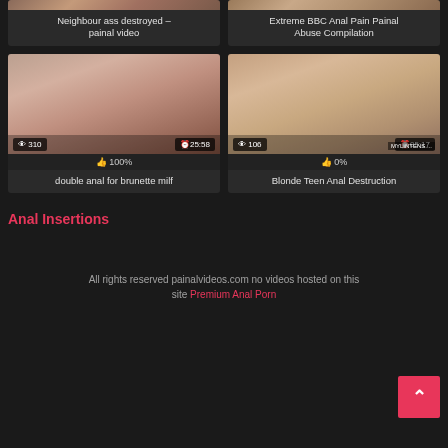[Figure (screenshot): Video thumbnail - Neighbour ass destroyed painal video]
Neighbour ass destroyed – painal video
[Figure (screenshot): Video thumbnail - Extreme BBC Anal Pain Painal Abuse Compilation]
Extreme BBC Anal Pain Painal Abuse Compilation
[Figure (screenshot): Video thumbnail - double anal for brunette milf, 310 views, 25:58 duration, 100% likes]
double anal for brunette milf
[Figure (screenshot): Video thumbnail - Blonde Teen Anal Destruction, 106 views, 05:17 duration, 0% likes]
Blonde Teen Anal Destruction
Anal Insertions
All rights reserved painalvideos.com no videos hosted on this site Premium Anal Porn